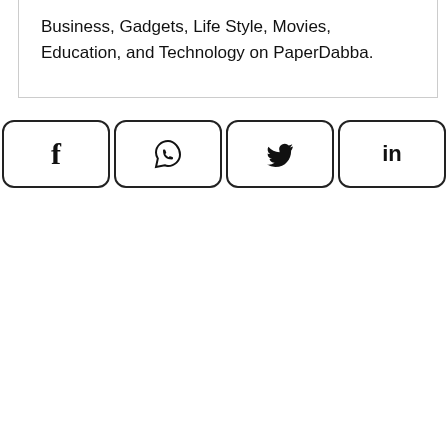Business, Gadgets, Life Style, Movies, Education, and Technology on PaperDabba.
[Figure (other): Social share buttons row: Facebook (f), WhatsApp (chat bubble with phone), Twitter (bird), LinkedIn (in)]